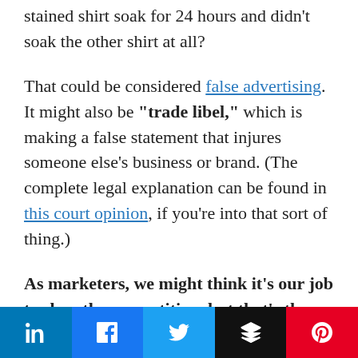stained shirt soak for 24 hours and didn't soak the other shirt at all?
That could be considered false advertising. It might also be "trade libel," which is making a false statement that injures someone else's business or brand. (The complete legal explanation can be found in this court opinion, if you're into that sort of thing.)
As marketers, we might think it's our job to slam the competition, but that's the wrong approach. First, you're giving a competing brand exposure by talking about them. You're also very likely to come across as petty—not an attractive trait. Finally, if you make